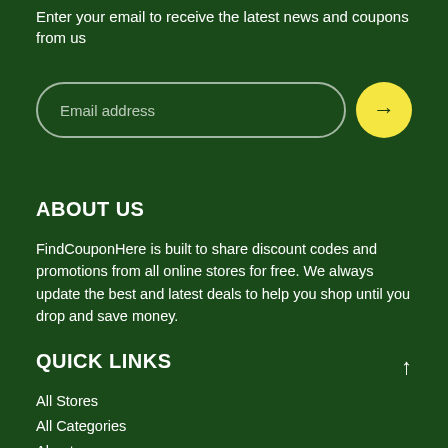Enter your email to receive the latest news and coupons from us
[Figure (screenshot): Email address input field with rounded border and a yellow circular submit button with right arrow]
ABOUT US
FindCouponHere is built to share discount codes and promotions from all online stores for free. We always update the best and latest deals to help you shop until you drop and save money.
QUICK LINKS
All Stores
All Categories
About